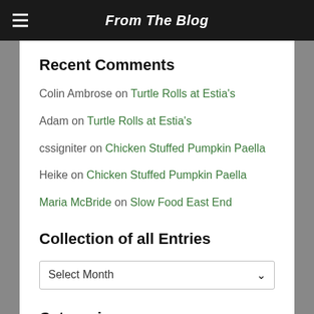From The Blog
Recent Comments
Colin Ambrose on Turtle Rolls at Estia's
Adam on Turtle Rolls at Estia's
cssigniter on Chicken Stuffed Pumpkin Paella
Heike on Chicken Stuffed Pumpkin Paella
Maria McBride on Slow Food East End
Collection of all Entries
Select Month
Categories
American Rivers Tour